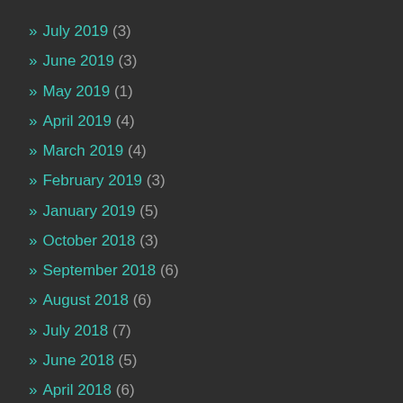» July 2019 (3)
» June 2019 (3)
» May 2019 (1)
» April 2019 (4)
» March 2019 (4)
» February 2019 (3)
» January 2019 (5)
» October 2018 (3)
» September 2018 (6)
» August 2018 (6)
» July 2018 (7)
» June 2018 (5)
» April 2018 (6)
» March 2018 (6)